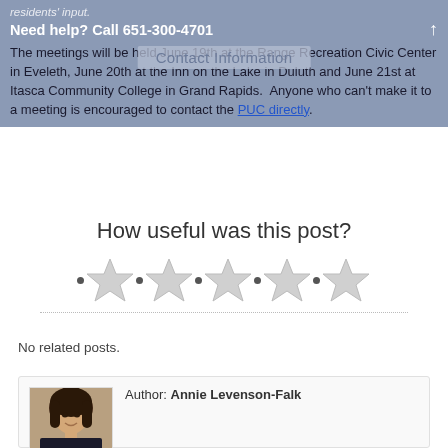residents' input.
Need help? Call 651-300-4701
Contact Information
The meetings will be held June 19th at the Range Recreation Civic Center in Eveleth, June 20th at the Inn on the Lake in Duluth and June 21st at Itasca Community College in Grand Rapids. Anyone who can't make it to a meeting is encouraged to contact the PUC directly.
How useful was this post?
[Figure (other): Five empty star rating widgets with radio button dots]
No related posts.
Author: Annie Levenson-Falk
[Figure (photo): Headshot photo of Annie Levenson-Falk, a woman with dark hair, smiling]